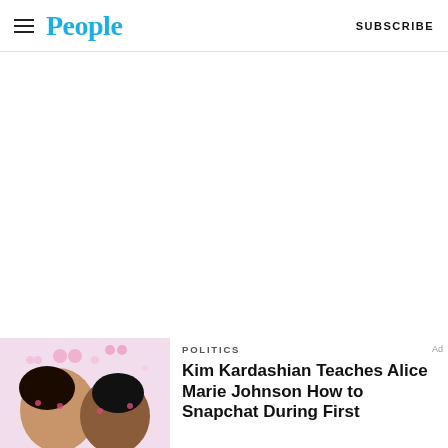People | SUBSCRIBE
[Figure (photo): People magazine logo in blue with hamburger menu icon on left and SUBSCRIBE text on right]
[Figure (photo): Photo of Kim Kardashian and Alice Marie Johnson taking a selfie with Snapchat heart filters applied]
POLITICS
Kim Kardashian Teaches Alice Marie Johnson How to Snapchat During First